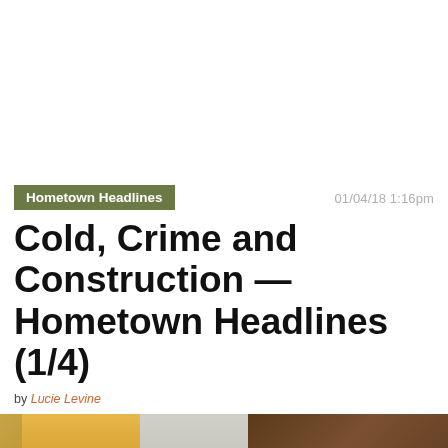Hometown Headlines
01/04/18 1:16pm
Cold, Crime and Construction — Hometown Headlines (1/4)
by Lucie Levine
[Figure (photo): Street-level photograph showing urban buildings and a construction crane against an overcast sky]